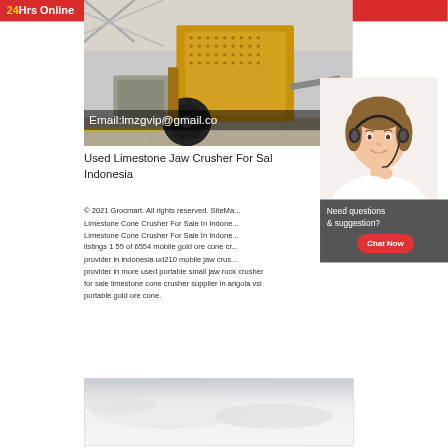[Figure (photo): Yellow industrial jaw/impact crusher machine in a factory/warehouse setting]
Email:lmzgvip@gmail.co
24Hrs Online
[Figure (photo): Customer service agent woman wearing headset, smiling]
Used Limestone Jaw Crusher For Sale Indonesia
Need questions & suggestion?
Chat Now
© 2021 Grocmart. All rights reserved. SiteMa... Limestone Cone Crusher For Sale In Indone... Limestone Cone Crusher For Sale In Indone... listings 1 55 of 6554 mobile gold ore cone cr... provider in indonesia ud210 mobile jaw crus... provider in more used portable small jaw rock crusher for sale limestone cone crusher supplier in angola vsi portable gold ore cone.
[Figure (photo): Partially visible bottom image - appears to be a landscape or sky photo, mostly white/grey]